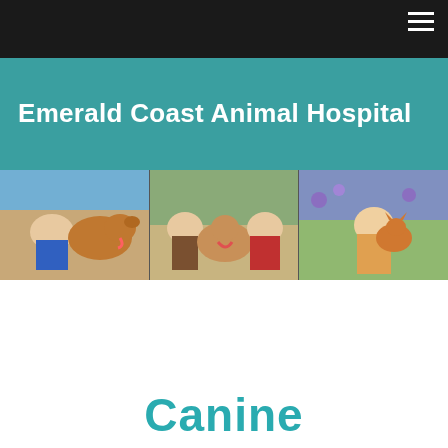Navigation bar with hamburger menu
Emerald Coast Animal Hospital
[Figure (photo): Three-panel photo strip showing children with dogs and a cat: left panel shows a boy with a golden retriever, center panel shows a teenage girl and a boy with a golden retriever, right panel shows a young girl holding an orange cat outdoors]
[Figure (photo): Wooden sign reading 'DOGGY DAYCARE' with colorful letters, photographed outdoors with trees in background]
Canine